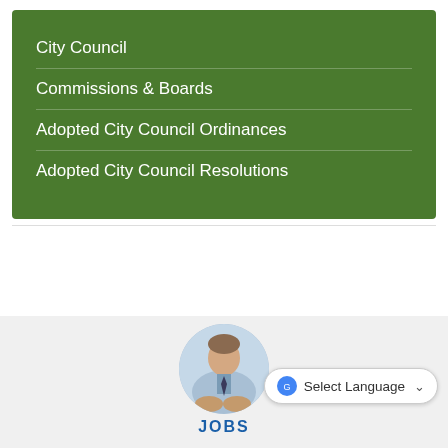City Council
Commissions & Boards
Adopted City Council Ordinances
Adopted City Council Resolutions
[Figure (photo): Circular photo of a person in a light blue shirt and dark tie, hands clasped or shaking hands, above the label JOBS]
JOBS
Select Language